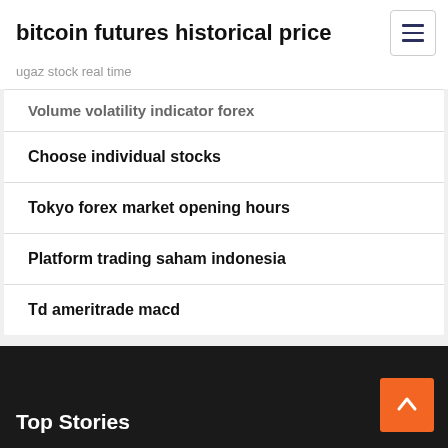bitcoin futures historical price
ugaz stock real time
Volume volatility indicator forex
Choose individual stocks
Tokyo forex market opening hours
Platform trading saham indonesia
Td ameritrade macd
Top Stories